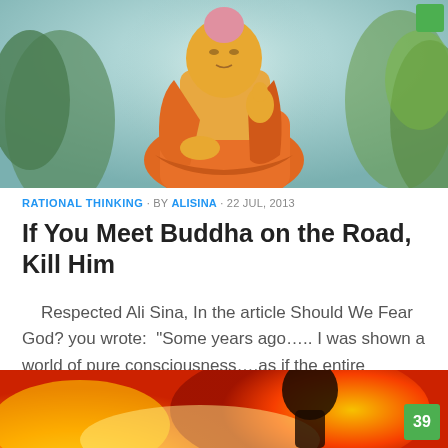[Figure (photo): Painting of Buddha in meditation pose, seated cross-legged in orange robes, with a teal/blue-green natural background with trees and foliage]
RATIONAL THINKING · BY ALISINA · 22 JUL, 2013
If You Meet Buddha on the Road, Kill Him
Respected Ali Sina, In the article Should We Fear God? you wrote:  "Some years ago….. I was shown a world of pure consciousness….as if the entire knowledge of the universe was accessible...
[Figure (photo): Bottom portion of another article image showing flames in orange, yellow and red with a dark silhouette, with a green badge showing the number 39]